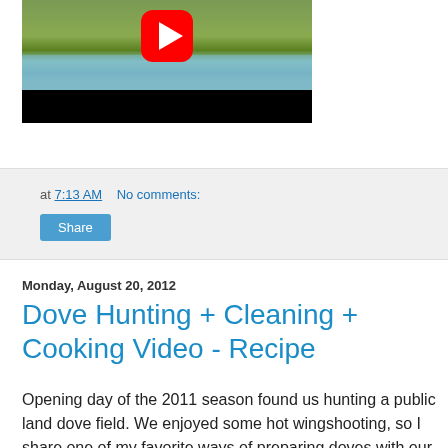[Figure (screenshot): YouTube video thumbnail showing a wetland/field hunting scene with a red YouTube play button overlay and black bar at the bottom]
at 7:13 AM   No comments:
Share
Monday, August 20, 2012
Dove Hunting + Cleaning + Cooking Video - Recipe
Opening day of the 2011 season found us hunting a public land dove field. We enjoyed some hot wingshooting, so I share one of my favorite ways of preparing doves with our bounty. If your hunting ducks and geese, try this recipe,